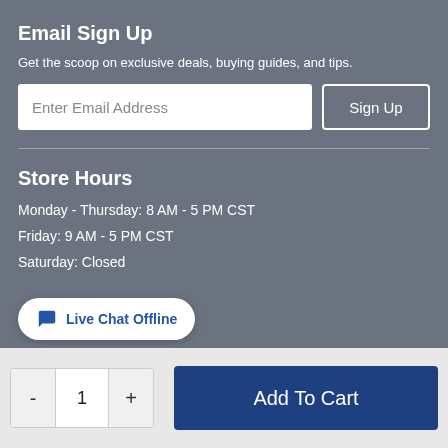Email Sign Up
Get the scoop on exclusive deals, buying guides, and tips.
[Figure (screenshot): Email input field with placeholder 'Enter Email Address' and a 'Sign Up' button]
Store Hours
Monday - Thursday: 8 AM - 5 PM CST
Friday: 9 AM - 5 PM CST
Saturday: Closed
[Figure (other): Live Chat Offline button with chat icon]
[Figure (other): Add to Cart section with quantity controls (minus, 1, plus) and Add To Cart button]